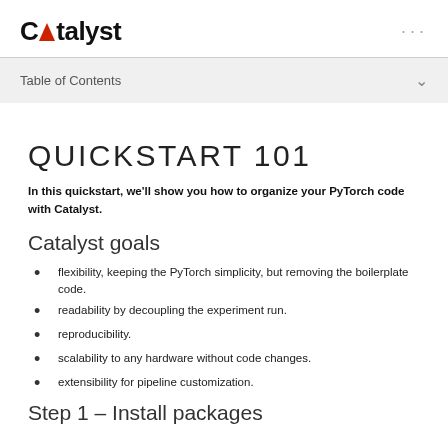Catalyst
Table of Contents
QUICKSTART 101
In this quickstart, we'll show you how to organize your PyTorch code with Catalyst.
Catalyst goals
flexibility, keeping the PyTorch simplicity, but removing the boilerplate code.
readability by decoupling the experiment run.
reproducibility.
scalability to any hardware without code changes.
extensibility for pipeline customization.
Step 1 – Install packages